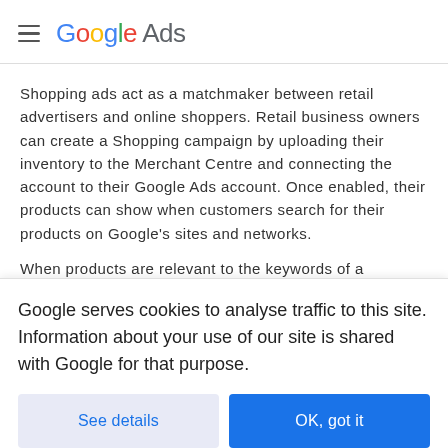≡ Google Ads
Shopping ads act as a matchmaker between retail advertisers and online shoppers. Retail business owners can create a Shopping campaign by uploading their inventory to the Merchant Centre and connecting the account to their Google Ads account. Once enabled, their products can show when customers search for their products on Google's sites and networks.
When products are relevant to the keywords of a prospective
Google serves cookies to analyse traffic to this site. Information about your use of our site is shared with Google for that purpose.